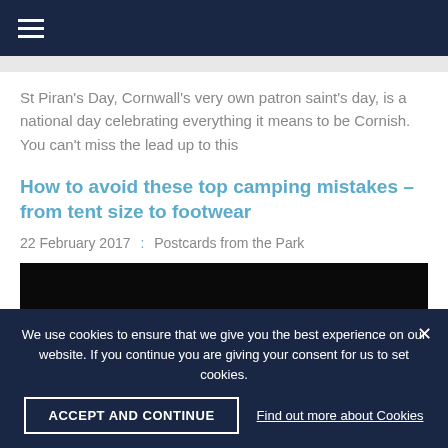Navigation menu bar
St Piran's Day, Cornwall's very own patron saint's day, is a national day celebrating everything it means to be Cornish. You can't miss the lead up to this
How to avoid these top camping mistakes – from tent size to footwear
22 February 2017 : Postcards from the Park
[Figure (photo): Dark/near-black image, partially visible, appears to be a nighttime or low-light outdoor scene]
We use cookies to ensure that we give you the best experience on our website. If you continue you are giving your consent for us to set cookies.
ACCEPT AND CONTINUE
Find out more about Cookies